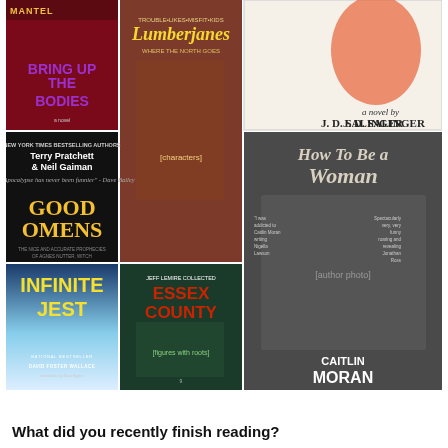[Figure (illustration): A 3x3 grid of book covers: Bring Up the Bodies by Hilary Mantel, Lumberjanes, a J.D. Salinger novel (The Catcher in the Rye), Good Omens by Terry Pratchett & Neil Gaiman, Essex County by Jeff Lemire (Collected), How to Be a Woman by Caitlin Moran, Infinite Jest by David Foster Wallace]
What did you recently finish reading?